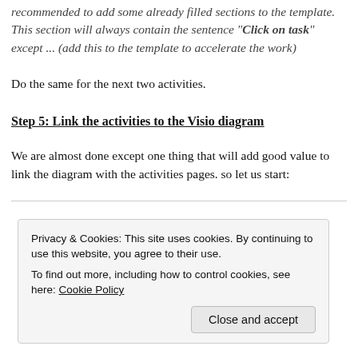recommended to add some already filled sections to the template. This section will always contain the sentence “Click on task” except ... (add this to the template to accelerate the work)
Do the same for the next two activities.
Step 5: Link the activities to the Visio diagram
We are almost done except one thing that will add good value to link the diagram with the activities pages. so let us start:
Privacy & Cookies: This site uses cookies. By continuing to use this website, you agree to their use.
To find out more, including how to control cookies, see here: Cookie Policy
Close and accept